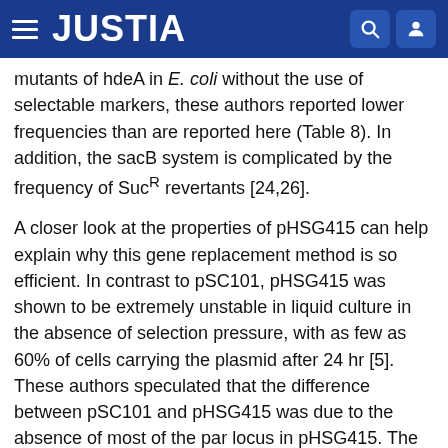JUSTIA
mutants of hdeA in E. coli without the use of selectable markers, these authors reported lower frequencies than are reported here (Table 8). In addition, the sacB system is complicated by the frequency of SucR revertants [24,26].
A closer look at the properties of pHSG415 can help explain why this gene replacement method is so efficient. In contrast to pSC101, pHSG415 was shown to be extremely unstable in liquid culture in the absence of selection pressure, with as few as 60% of cells carrying the plasmid after 24 hr [5]. These authors speculated that the difference between pSC101 and pHSG415 was due to the absence of most of the par locus in pHSG415. The pSC101 par locus has been very well characterized; it has been shown to alter the binding of proteins within the origin region [23] and thus to enhance DNA